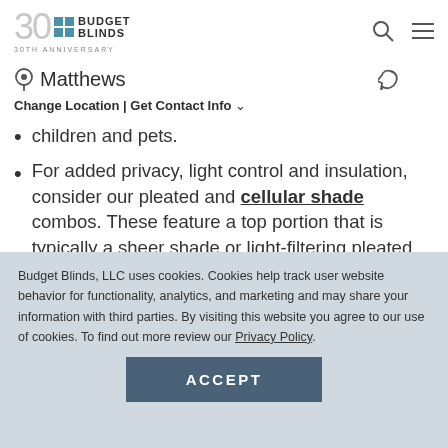Budget Blinds — 30th Anniversary — Matthews
Change Location | Get Contact Info
children and pets.
For added privacy, light control and insulation, consider our pleated and cellular shade combos. These feature a top portion that is typically a sheer shade or light-filtering pleated shade, while the bottom portion features a cellular
Budget Blinds, LLC uses cookies. Cookies help track user website behavior for functionality, analytics, and marketing and may share your information with third parties. By visiting this website you agree to our use of cookies. To find out more review our Privacy Policy.
ACCEPT